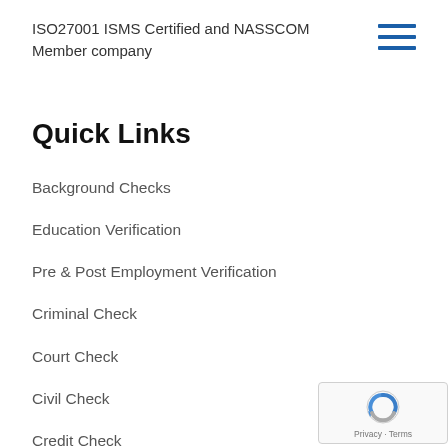ISO27001 ISMS Certified and NASSCOM Member company
Quick Links
Background Checks
Education Verification
Pre & Post Employment Verification
Criminal Check
Court Check
Civil Check
Credit Check
[Figure (logo): reCAPTCHA badge with Privacy and Terms text]